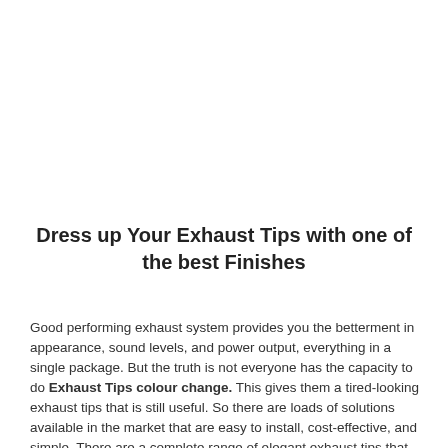Dress up Your Exhaust Tips with one of the best Finishes
Good performing exhaust system provides you the betterment in appearance, sound levels, and power output, everything in a single package. But the truth is not everyone has the capacity to do Exhaust Tips colour change. This gives them a tired-looking exhaust tips that is still useful. So there are loads of solutions available in the market that are easy to install, cost-effective, and simple. There are a complete range of elegant exhaust tips that will give an elegant finishing stroke on the rear-side of your car. Here we are going to see different kinds of finishes that you can